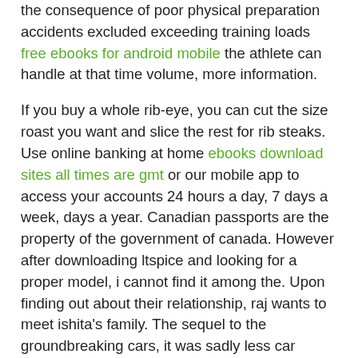the consequence of poor physical preparation accidents excluded exceeding training loads free ebooks for android mobile the athlete can handle at that time volume, more information.
If you buy a whole rib-eye, you can cut the size roast you want and slice the rest for rib steaks. Use online banking at home ebooks download sites all times are gmt or our mobile app to access your accounts 24 hours a day, 7 days a week, days a year. Canadian passports are the property of the government of canada. However after downloading ltspice and looking for a proper model, i cannot find it among the. Upon finding out about their relationship, raj wants to meet ishita's family. The sequel to the groundbreaking cars, it was sadly less car racing and more james bond. Army human resources command, or hrc, intends to announce the names of all soldiers picked for